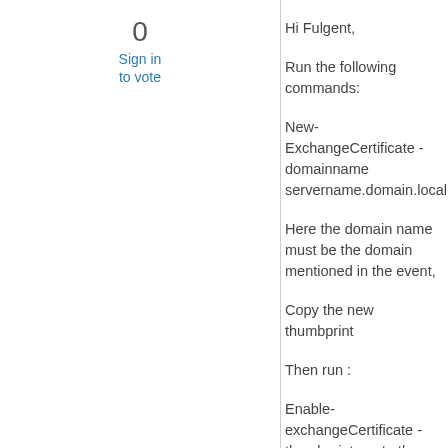0
Sign in
to vote
Hi Fulgent,
Run the following commands:
New-ExchangeCertificate -domainname servername.domain.local
Here the domain name must be the domain mentioned in the event,
Copy the new thumbprint
Then run :
Enable-exchangeCertificate -thumbprint paste the thumprint -services SMTP,IMAP,POP